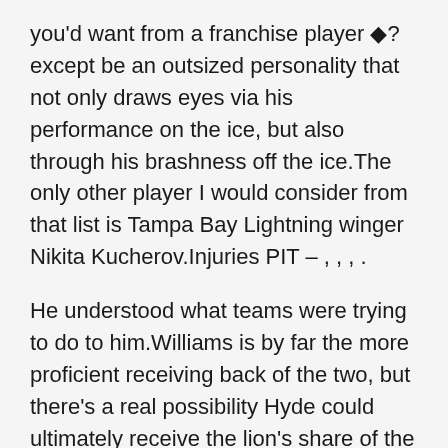you'd want from a franchise player ◆?except be an outsized personality that not only draws eyes via his performance on the ice, but also through his brashness off the ice.The only other player I would consider from that list is Tampa Bay Lightning winger Nikita Kucherov.Injuries PIT – , , , .
He understood what teams were trying to do to him.Williams is by far the more proficient receiving back of the two, but there's a real possibility Hyde could ultimately receive the lion's share of the goal line carries, which would severely hamper the incumbent's projected touchdown totals.Robles has gone 6-for-7 in saves this season, with Tuesday's outing representing a strong bounce-back performance after Saturday's blown cheap jerseys save.1 center, following comments made by management at the team's golf tournament earlier